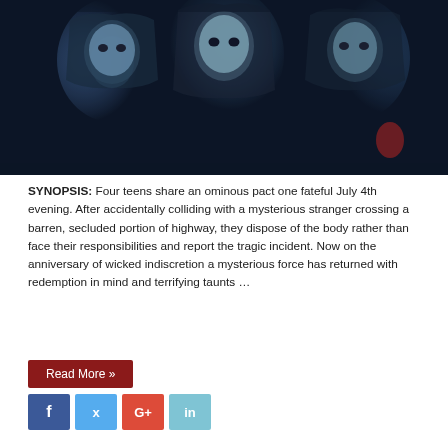[Figure (photo): Movie poster showing three young women with blue-tinted dark horror aesthetic, faces illuminated against a dark background]
SYNOPSIS: Four teens share an ominous pact one fateful July 4th evening. After accidentally colliding with a mysterious stranger crossing a barren, secluded portion of highway, they dispose of the body rather than face their responsibilities and report the tragic incident. Now on the anniversary of wicked indiscretion a mysterious force has returned with redemption in mind and terrifying taunts …
Read More »
[Figure (other): Social media share icons: Facebook (f), Twitter (bird), Google+ (G+), LinkedIn (in)]
Film Review: Possession (2008)
Killian   08/12/2018   0